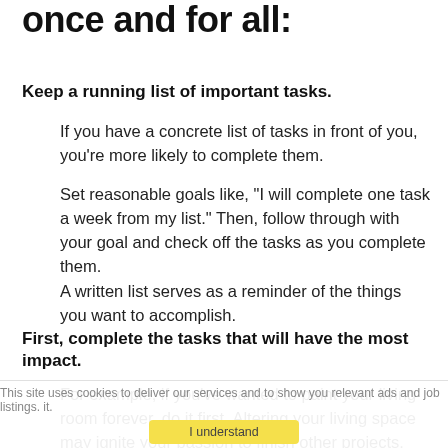once and for all:
Keep a running list of important tasks.
If you have a concrete list of tasks in front of you, you're more likely to complete them.
Set reasonable goals like, “I will complete one task a week from my list.” Then, follow through with your goal and check off the tasks as you complete them.
A written list serves as a reminder of the things you want to accomplish.
First, complete the tasks that will have the most impact.
For example, if you’ve wanted to paint your living room forever, do it first. Altering your living space may ignite your passion to finish other projects.
Show yourself that you can do whatever you want to